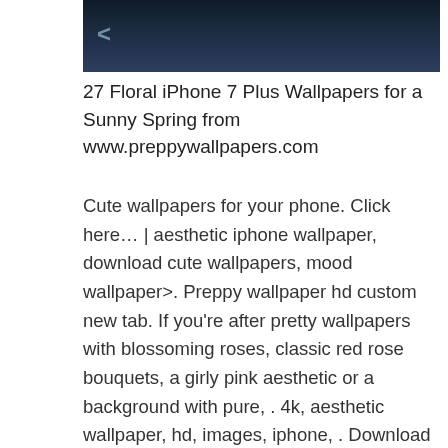[Figure (photo): Dark blue/night sky or foliage background image, partially visible at top of page]
27 Floral iPhone 7 Plus Wallpapers for a Sunny Spring from www.preppywallpapers.com
Cute wallpapers for your phone. Click here… | aesthetic iphone wallpaper, download cute wallpapers, mood wallpaper>. Preppy wallpaper hd custom new tab. If you're after pretty wallpapers with blossoming roses, classic red rose bouquets, a girly pink aesthetic or a background with pure, . 4k, aesthetic wallpaper, hd, images, iphone, . Download free wallpapers , preppy aesthetic. Pinterest wallpapers and background images for all your devices. Available in hd, 4k and 8k resolution for desktop and mobile.